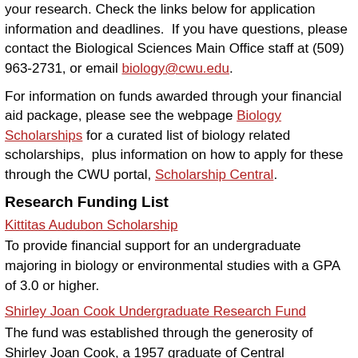your research. Check the links below for application information and deadlines. If you have questions, please contact the Biological Sciences Main Office staff at (509) 963-2731, or email biology@cwu.edu.
For information on funds awarded through your financial aid package, please see the webpage Biology Scholarships for a curated list of biology related scholarships, plus information on how to apply for these through the CWU portal, Scholarship Central.
Research Funding List
Kittitas Audubon Scholarship
To provide financial support for an undergraduate majoring in biology or environmental studies with a GPA of 3.0 or higher.
Shirley Joan Cook Undergraduate Research Fund
The fund was established through the generosity of Shirley Joan Cook, a 1957 graduate of Central Washington College of Education, now Central Washington University. The purpose of the fund is to promote excellence in undergraduate scientific research in botany and other areas under the supervision of